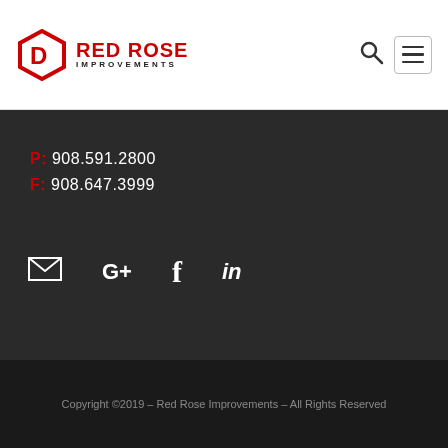[Figure (logo): Red Rose Improvements logo with hexagonal icon and company name]
P: 908.591.2800
F: 908.647.3999
[Figure (infographic): Social media icons: email, Google+, Facebook, LinkedIn]
Copyright ©2019 – Red Rose Improvements – All Rights Reserved